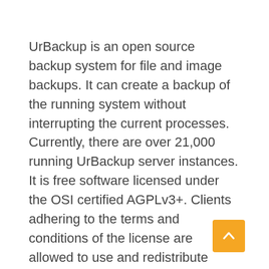UrBackup is an open source backup system for file and image backups. It can create a backup of the running system without interrupting the current processes. Currently, there are over 21,000 running UrBackup server instances. It is free software licensed under the OSI certified AGPLv3+. Clients adhering to the terms and conditions of the license are allowed to use and redistribute UrBackup for personal and commercial purposes.
[Figure (other): Orange rounded square button with a white upward-pointing chevron/arrow icon, used as a scroll-to-top button.]